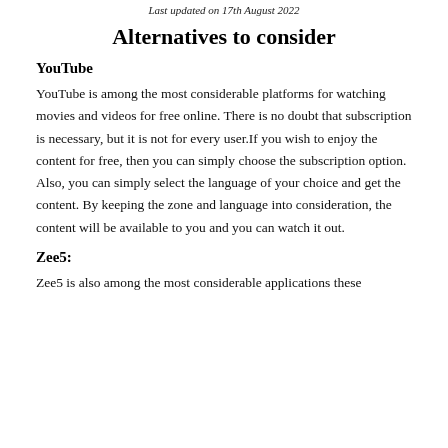Last updated on 17th August 2022
Alternatives to consider
YouTube
YouTube is among the most considerable platforms for watching movies and videos for free online. There is no doubt that subscription is necessary, but it is not for every user.If you wish to enjoy the content for free, then you can simply choose the subscription option. Also, you can simply select the language of your choice and get the content. By keeping the zone and language into consideration, the content will be available to you and you can watch it out.
Zee5:
Zee5 is also among the most considerable applications these